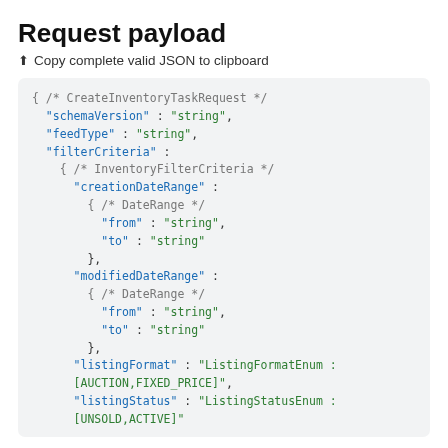Request payload
⬆ Copy complete valid JSON to clipboard
{ /* CreateInventoryTaskRequest */
  "schemaVersion" : "string",
  "feedType" : "string",
  "filterCriteria" :
    { /* InventoryFilterCriteria */
      "creationDateRange" :
        { /* DateRange */
          "from" : "string",
          "to" : "string"
        },
      "modifiedDateRange" :
        { /* DateRange */
          "from" : "string",
          "to" : "string"
        },
      "listingFormat" : "ListingFormatEnum : [AUCTION,FIXED_PRICE]",
      "listingStatus" : "ListingStatusEnum : [UNSOLD,ACTIVE]"